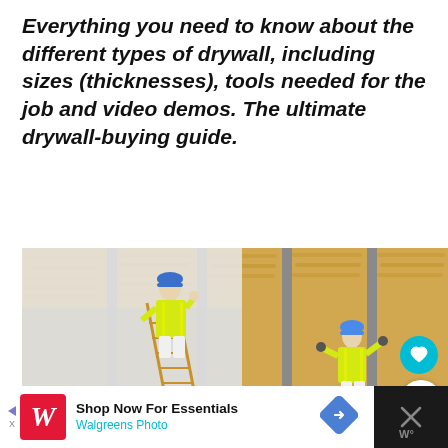Everything you need to know about the different types of drywall, including sizes (thicknesses), tools needed for the job and video demos. The ultimate drywall-buying guide.
[Figure (photo): Two construction workers in yellow high-visibility vests and blue hard hats installing drywall panels against a wall with exposed mineral wool insulation and metal studs. One worker stands on a wooden ladder.]
[Figure (infographic): Advertisement bar: Walgreens Photo ad with red logo, text 'Shop Now For Essentials', 'Walgreens Photo', blue navigation arrow icon, and a dark close button on the right.]